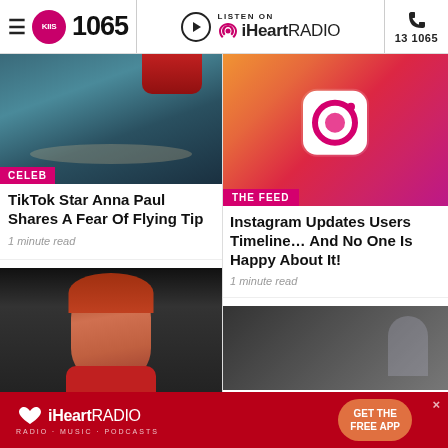KIIS 1065 | LISTEN ON iHeartRADIO | 13 1065
[Figure (photo): Photo of woman with pearl necklace, labeled CELEB]
TikTok Star Anna Paul Shares A Fear Of Flying Tip
1 minute read
[Figure (photo): Instagram app icon on gradient background, labeled THE FEED]
Instagram Updates Users Timeline… And No One Is Happy About It!
1 minute read
[Figure (photo): Photo of woman with red hair at a podium]
[Figure (photo): Dark photo with blurred figures]
[Figure (other): iHeartRADIO advertisement banner - GET THE FREE APP]